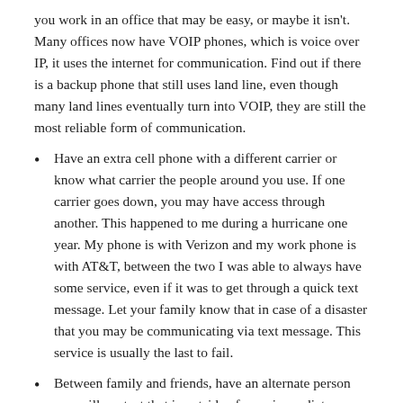you work in an office that may be easy, or maybe it isn't. Many offices now have VOIP phones, which is voice over IP, it uses the internet for communication. Find out if there is a backup phone that still uses land line, even though many land lines eventually turn into VOIP, they are still the most reliable form of communication.
Have an extra cell phone with a different carrier or know what carrier the people around you use. If one carrier goes down, you may have access through another. This happened to me during a hurricane one year. My phone is with Verizon and my work phone is with AT&T, between the two I was able to always have some service, even if it was to get through a quick text message. Let your family know that in case of a disaster that you may be communicating via text message. This service is usually the last to fail.
Between family and friends, have an alternate person you will contact that is outside of your immediate area, maybe a different area of your state or in a different state. If you can't get a hold of each other you may be able to contact your out of area relative to share information with them as a central